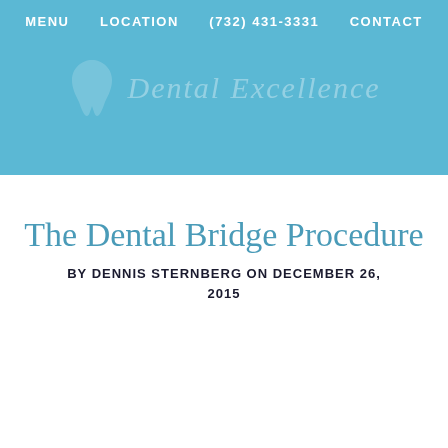MENU   LOCATION   (732) 431-3331   CONTACT
[Figure (logo): Dental office logo/banner with tooth icon and practice name in light overlay on blue background]
The Dental Bridge Procedure
BY DENNIS STERNBERG ON DECEMBER 26, 2015